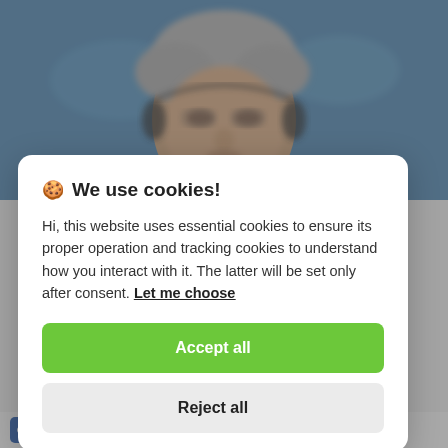[Figure (photo): Blurred photo of an elderly man with gray hair against a blue UN-related background]
🍪 We use cookies!
Hi, this website uses essential cookies to ensure its proper operation and tracking cookies to understand how you interact with it. The latter will be set only after consent. Let me choose
Accept all
Reject all
Stay Connected